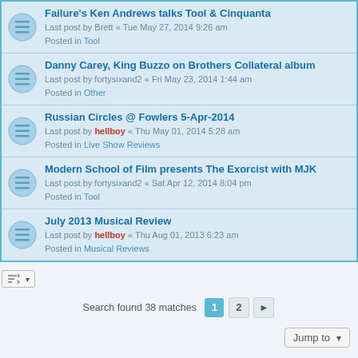Failure's Ken Andrews talks Tool & Cinquanta
Last post by Brett « Tue May 27, 2014 9:26 am
Posted in Tool
Danny Carey, King Buzzo on Brothers Collateral album
Last post by fortysixand2 « Fri May 23, 2014 1:44 am
Posted in Other
Russian Circles @ Fowlers 5-Apr-2014
Last post by hellboy « Thu May 01, 2014 5:28 am
Posted in Live Show Reviews
Modern School of Film presents The Exorcist with MJK
Last post by fortysixand2 « Sat Apr 12, 2014 8:04 pm
Posted in Tool
July 2013 Musical Review
Last post by hellboy « Thu Aug 01, 2013 6:23 am
Posted in Musical Reviews
Search found 38 matches  1  2  >
Jump to